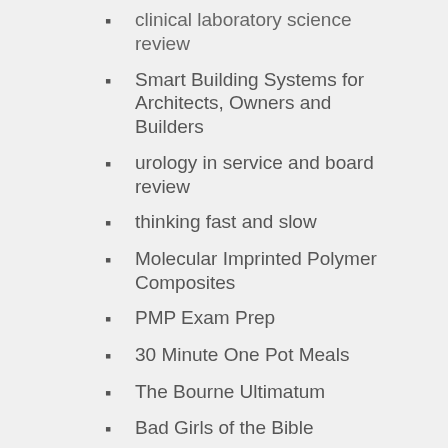clinical laboratory science review
Smart Building Systems for Architects, Owners and Builders
urology in service and board review
thinking fast and slow
Molecular Imprinted Polymer Composites
PMP Exam Prep
30 Minute One Pot Meals
The Bourne Ultimatum
Bad Girls of the Bible
Tip-Edge Orthodontics and the Plus Bracket
the ultimate guide to advanced combat
The Science and Engineering of Cutting
not only for the pros molecular gastronomy